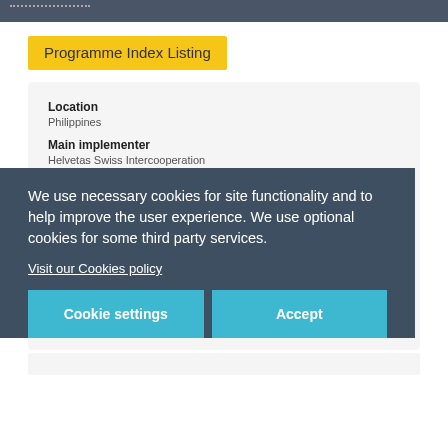Programme Index Listing
Location
Philippines
Main implementer
Helvetas Swiss Intercooperation
Other implementers
People in Need
Donor
Swiss Solidarity
Duration
2017 - 2019
Total budget
USD $2.2 million
USD $700,000
We use necessary cookies for site functionality and to help improve the user experience. We use optional cookies for some third party services.
Visit our Cookies policy
Cookie settings
Accept